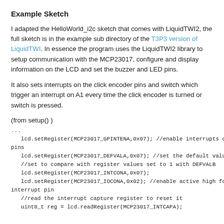Example Sketch
I adapted the HelloWorld_i2c sketch that comes with LiquidTWI2, the full sketch is in the example sub directory of the T3P3 version of LiquidTWI. In essence the program uses the LiquidTWI2 library to setup communication with the MCP23017, configure and display information on the LCD and set the buzzer and LED pins.
It also sets interrupts on the click encoder pins and switch which trigger an interrupt on A1 every time the click encoder is turned or switch is pressed.
(from setup() )
...
lcd.setRegister(MCP23017_GPINTENA,0x07); //enable interrupts on 3 pins
lcd.setRegister(MCP23017_DEFVALA,0x07); //set the default values as 1
   //set to compare with register values set to 1 with DEFVALB
   lcd.setRegister(MCP23017_INTCONA,0x07);
   lcd.setRegister(MCP23017_IOCONA,0x02); //enable active high for interrupt pin
   //read the interrupt capture register to reset it
   uint8_t reg = lcd.readRegister(MCP23017_INTCAPA);